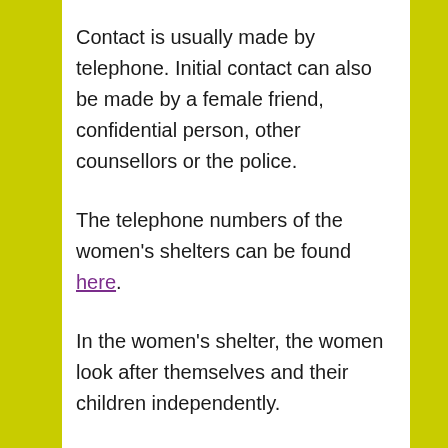Contact is usually made by telephone. Initial contact can also be made by a female friend, confidential person, other counsellors or the police.
The telephone numbers of the women's shelters can be found here.
In the women's shelter, the women look after themselves and their children independently.
The staff members provide support and advice on questions relating to